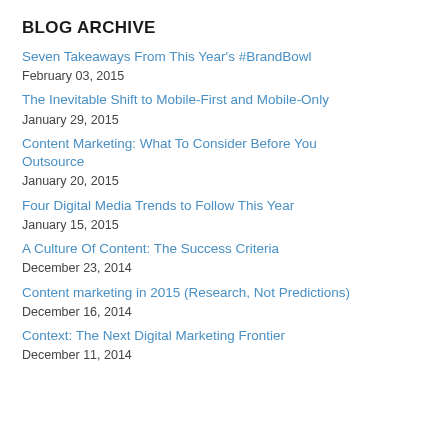BLOG ARCHIVE
Seven Takeaways From This Year's #BrandBowl
February 03, 2015
The Inevitable Shift to Mobile-First and Mobile-Only
January 29, 2015
Content Marketing: What To Consider Before You Outsource
January 20, 2015
Four Digital Media Trends to Follow This Year
January 15, 2015
A Culture Of Content: The Success Criteria
December 23, 2014
Content marketing in 2015 (Research, Not Predictions)
December 16, 2014
Context: The Next Digital Marketing Frontier
December 11, 2014